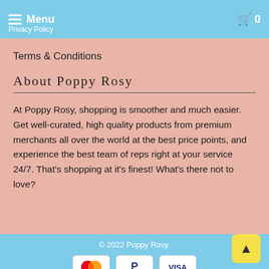Menu  Privacy Policy  0
Terms & Conditions
About Poppy Rosy
At Poppy Rosy, shopping is smoother and much easier. Get well-curated, high quality products from premium merchants all over the world at the best price points, and experience the best team of reps right at your service 24/7. That's shopping at it's finest! What's there not to love?
© 2022 Poppy Rosy.